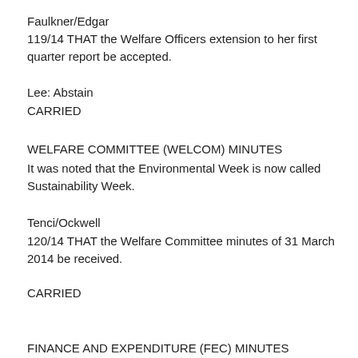Faulkner/Edgar
119/14 THAT the Welfare Officers extension to her first quarter report be accepted.
Lee: Abstain
CARRIED
WELFARE COMMITTEE (WELCOM) MINUTES
It was noted that the Environmental Week is now called Sustainability Week.
Tenci/Ockwell
120/14 THAT the Welfare Committee minutes of 31 March 2014 be received.
CARRIED
FINANCE AND EXPENDITURE (FEC) MINUTES